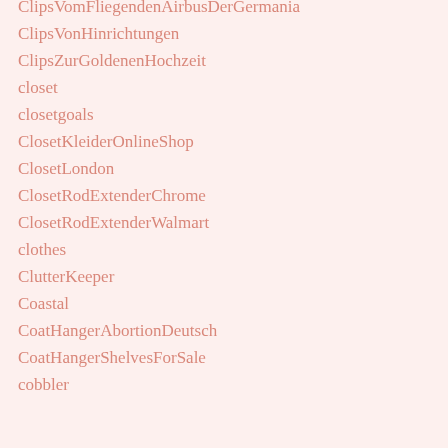ClipsVomFliegendenAirbusDerGermania
ClipsVonHinrichtungen
ClipsZurGoldenenHochzeit
closet
closetgoals
ClosetKleiderOnlineShop
ClosetLondon
ClosetRodExtenderChrome
ClosetRodExtenderWalmart
clothes
ClutterKeeper
Coastal
CoatHangerAbortionDeutsch
CoatHangerShelvesForSale
cobbler